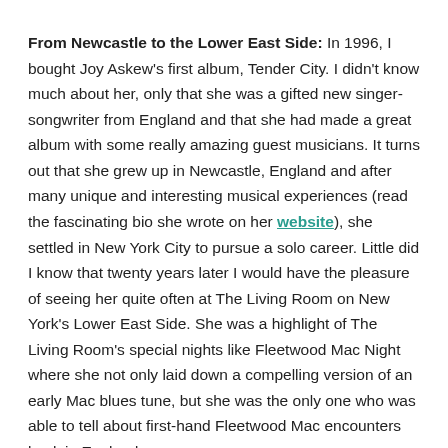From Newcastle to the Lower East Side: In 1996, I bought Joy Askew's first album, Tender City. I didn't know much about her, only that she was a gifted new singer-songwriter from England and that she had made a great album with some really amazing guest musicians. It turns out that she grew up in Newcastle, England and after many unique and interesting musical experiences (read the fascinating bio she wrote on her website), she settled in New York City to pursue a solo career. Little did I know that twenty years later I would have the pleasure of seeing her quite often at The Living Room on New York's Lower East Side. She was a highlight of The Living Room's special nights like Fleetwood Mac Night where she not only laid down a compelling version of an early Mac blues tune, but she was the only one who was able to tell about first-hand Fleetwood Mac encounters back in England.
Perhaps You is in the album...